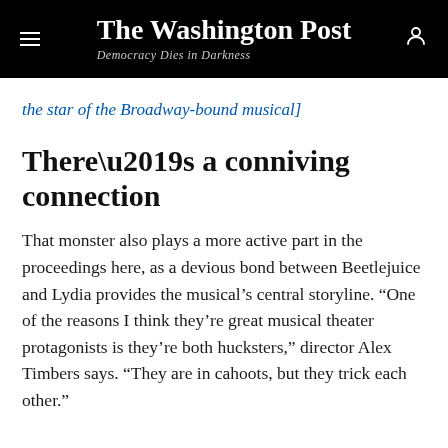The Washington Post
Democracy Dies in Darkness
[the star of the Broadway-bound musical]
There’s a conniving connection
That monster also plays a more active part in the proceedings here, as a devious bond between Beetlejuice and Lydia provides the musical’s central storyline. “One of the reasons I think they’re great musical theater protagonists is they’re both hucksters,” director Alex Timbers says. “They are in cahoots, but they trick each other.”